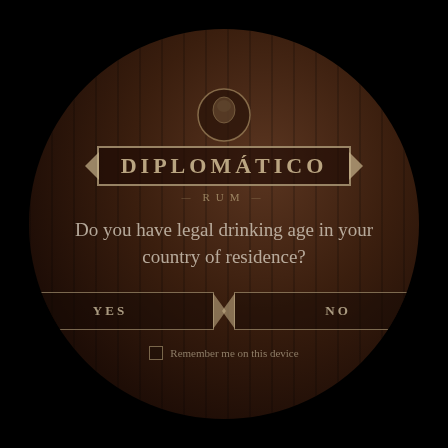[Figure (illustration): Diplomatico Rum age verification page with a dark wooden barrel background showing a circular barrel end. The barrel has vertical wood grain lines and a dark reddish-brown color.]
DIPLOMATICO RUM
Do you have legal drinking age in your country of residence?
YES
NO
Remember me on this device